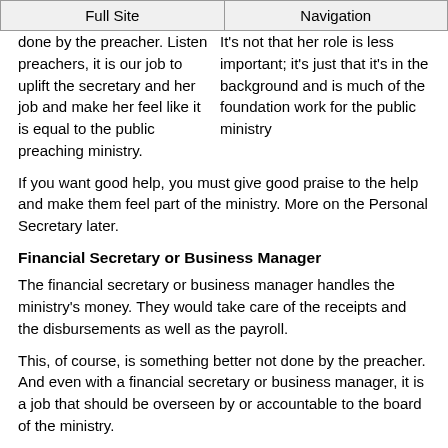Full Site | Navigation
It's not that her role is less important; it's just that it's in the background and is much of the foundation work for the public ministry done by the preacher. Listen preachers, it is our job to uplift the secretary and her job and make her feel like it is equal to the public preaching ministry.
If you want good help, you must give good praise to the help and make them feel part of the ministry. More on the Personal Secretary later.
Financial Secretary or Business Manager
The financial secretary or business manager handles the ministry's money. They would take care of the receipts and the disbursements as well as the payroll.
This, of course, is something better not done by the preacher. And even with a financial secretary or business manager, it is a job that should be overseen by or accountable to the board of the ministry.
This is a valuable ministry team member and must be someone who has character and integrity but not stingy and territorial. More on the Financial Secretary or Business Manager later.